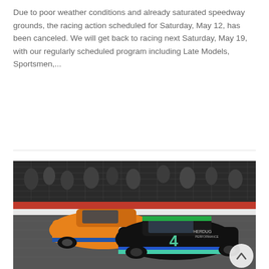Due to poor weather conditions and already saturated speedway grounds, the racing action scheduled for Saturday, May 12, has been canceled. We will get back to racing next Saturday, May 19, with our regularly scheduled program including Late Models, Sportsmen,...
Read More
[Figure (photo): Two late model stock cars racing side by side on a speedway at night — an orange car (#61) and a black car (#4 with Herdug branding) — with spectators visible in the background behind a fence and red/white retaining wall.]